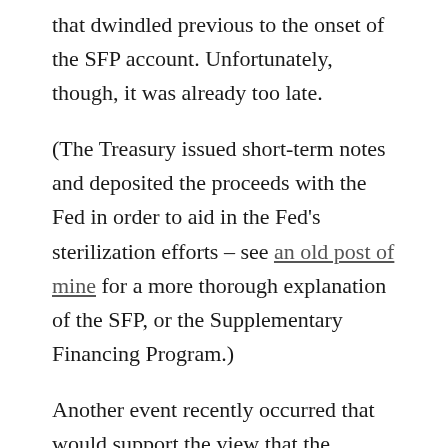that dwindled previous to the onset of the SFP account. Unfortunately, though, it was already too late.
(The Treasury issued short-term notes and deposited the proceeds with the Fed in order to aid in the Fed's sterilization efforts – see an old post of mine for a more thorough explanation of the SFP, or the Supplementary Financing Program.)
Another event recently occurred that would support the view that the FOMC is backpedaling: the Treasury's Supplementary Financing Program (SFP) is going bye bye.
The Treasury started this week to unwind its